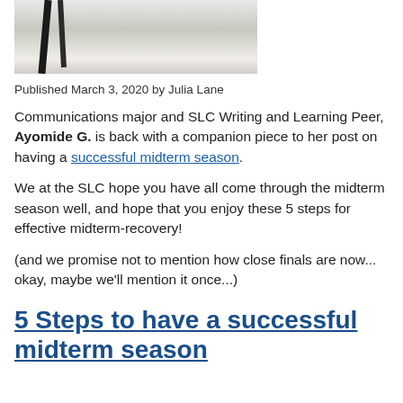[Figure (photo): Partial photo of paint brushes with black tips against a light background, cropped at the top of the page.]
Published March 3, 2020 by Julia Lane
Communications major and SLC Writing and Learning Peer, Ayomide G. is back with a companion piece to her post on having a successful midterm season.
We at the SLC hope you have all come through the midterm season well, and hope that you enjoy these 5 steps for effective midterm-recovery!
(and we promise not to mention how close finals are now... okay, maybe we'll mention it once...)
5 Steps to have a successful midterm season